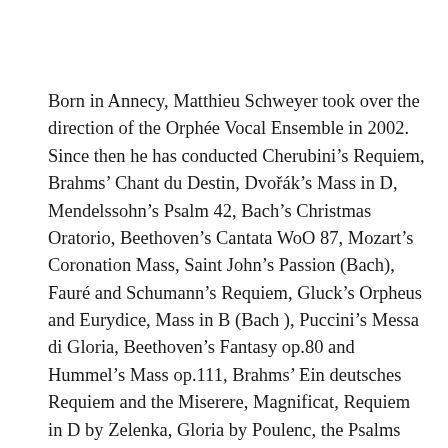Born in Annecy, Matthieu Schweyer took over the direction of the Orphée Vocal Ensemble in 2002. Since then he has conducted Cherubini's Requiem, Brahms' Chant du Destin, Dvořák's Mass in D, Mendelssohn's Psalm 42, Bach's Christmas Oratorio, Beethoven's Cantata WoO 87, Mozart's Coronation Mass, Saint John's Passion (Bach), Fauré and Schumann's Requiem, Gluck's Orpheus and Eurydice, Mass in B (Bach ), Puccini's Messa di Gloria, Beethoven's Fantasy op.80 and Hummel's Mass op.111, Brahms' Ein deutsches Requiem and the Miserere, Magnificat, Requiem in D by Zelenka, Gloria by Poulenc, the Psalms Symphony by Stravinsky, the Misatango by Palmeri, the Stabat Mater by Dvorak, the Requiem by Mozart, Joshua by Handel, the Creation by Haydn, the 9th Symphony by Beethoven the Carmina Burana and the Stabat Mater